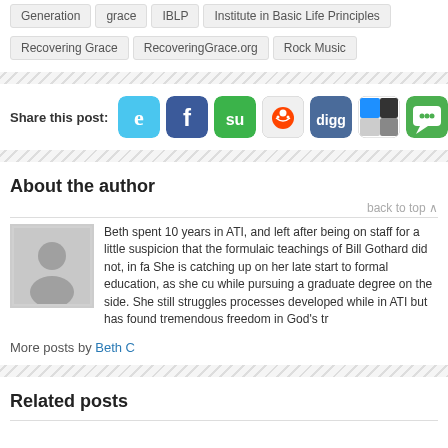Generation   grace   IBLP   Institute in Basic Life Principles
Recovering Grace   RecoveringGrace.org   Rock Music
Share this post: [Twitter] [Facebook] [StumbleUpon] [Reddit] [Digg] [Delicious] [iMessage]
About the author
Beth spent 10 years in ATI, and left after being on staff for a little suspicion that the formulaic teachings of Bill Gothard did not, in fa She is catching up on her late start to formal education, as she cu while pursuing a graduate degree on the side. She still struggles processes developed while in ATI but has found tremendous freedom in God's tr
More posts by Beth C
Related posts